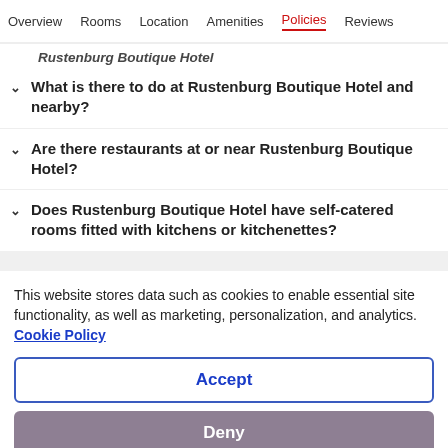Overview  Rooms  Location  Amenities  Policies  Reviews
Rustenburg Boutique Hotel
What is there to do at Rustenburg Boutique Hotel and nearby?
Are there restaurants at or near Rustenburg Boutique Hotel?
Does Rustenburg Boutique Hotel have self-catered rooms fitted with kitchens or kitchenettes?
This website stores data such as cookies to enable essential site functionality, as well as marketing, personalization, and analytics. Cookie Policy
Accept
Deny